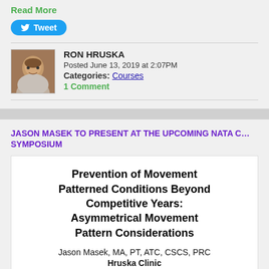Read More
Tweet
RON HRUSKA
Posted June 13, 2019 at 2:07PM
Categories: Courses
1 Comment
JASON MASEK TO PRESENT AT THE UPCOMING NATA C... SYMPOSIUM
Prevention of Movement Patterned Conditions Beyond Competitive Years: Asymmetrical Movement Pattern Considerations
Jason Masek, MA, PT, ATC, CSCS, PRC
Hruska Clinic